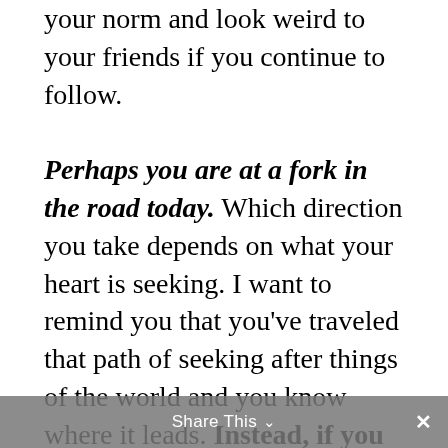your norm and look weird to your friends if you continue to follow.

Perhaps you are at a fork in the road today. Which direction you take depends on what your heart is seeking. I want to remind you that you've traveled that path of seeking after things of the world and you know where it leads. Instead, if you are standing at the fork, try putting all of your faith in Him. Close your eyes, take a deep breath, and step in another direction. Let go
Share This ˅  ×